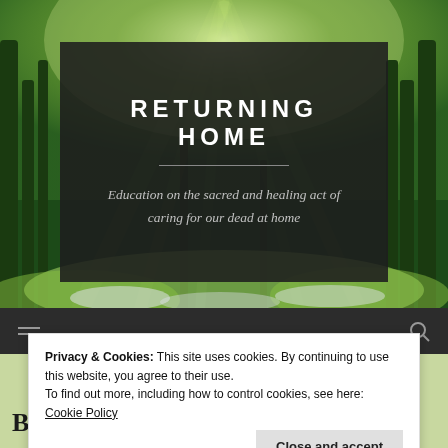[Figure (photo): Forest background with sunlight filtering through green trees, serving as hero image backdrop]
RETURNING HOME
Education on the sacred and healing act of caring for our dead at home
[Figure (screenshot): Dark navigation bar with hamburger menu icon on left and search icon on right]
Privacy & Cookies: This site uses cookies. By continuing to use this website, you agree to their use.
To find out more, including how to control cookies, see here: Cookie Policy
Close and accept
Back Into The Home? The